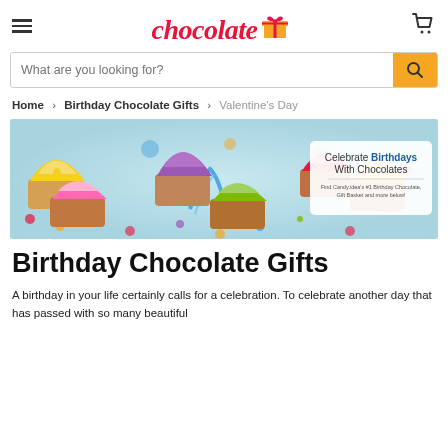chocolate [logo with gift icon]
What are you looking for?
Home > Birthday Chocolate Gifts > Valentine's Day
[Figure (photo): Colorful frosted cupcakes on a light blue background with confetti and ribbon. Overlay card reads 'Celebrate Birthdays With Chocolates. Find Candy.idea's #1 Birthday Chocolate, Gift Basket and more below!']
Birthday Chocolate Gifts
A birthday in your life certainly calls for a celebration. To celebrate another day that has passed with so many beautiful